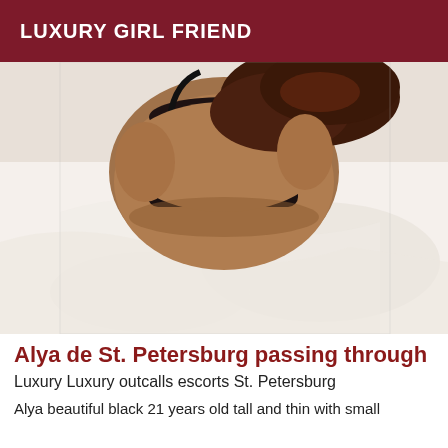LUXURY GIRL FRIEND
[Figure (photo): A person lying face down on a white bed, photographed from behind, wearing dark underwear.]
Alya de St. Petersburg passing through
Luxury Luxury outcalls escorts St. Petersburg
Alya beautiful black 21 years old tall and thin with small